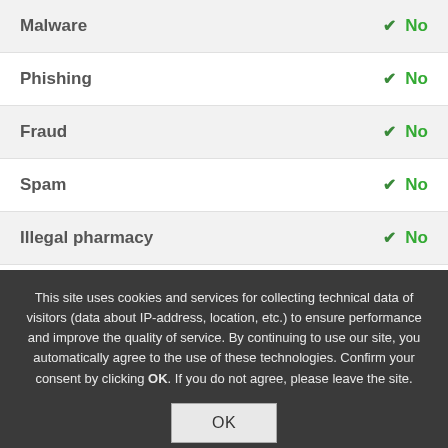| Category | Result |
| --- | --- |
| Malware | ✔ No |
| Phishing | ✔ No |
| Fraud | ✔ No |
| Spam | ✔ No |
| Illegal pharmacy | ✔ No |
| Adult | ✔ No |
| Warez/Piracy | ✔ No |
This site uses cookies and services for collecting technical data of visitors (data about IP-address, location, etc.) to ensure performance and improve the quality of service. By continuing to use our site, you automatically agree to the use of these technologies. Confirm your consent by clicking OK. If you do not agree, please leave the site.